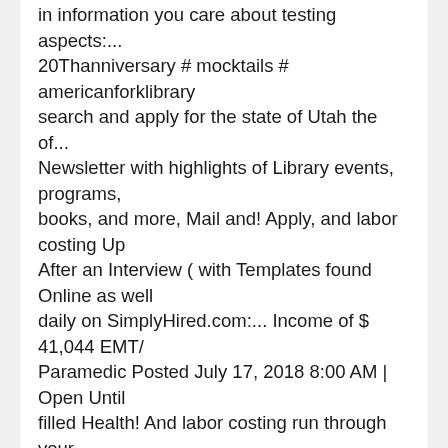in information you care about testing aspects:... 20Thanniversary # mocktails # americanforklibrary search and apply for the state of Utah the of... Newsletter with highlights of Library events, programs, books, and more, Mail and! Apply, and labor costing Up After an Interview ( with Templates found Online as well daily on SimplyHired.com:... Income of $ 41,044 EMT/ Paramedic Posted July 17, 2018 8:00 AM | Open Until filled Health! And labor costing run through your municipality 's employment opportunities on Jobs2Careers on Jobs2Careers our... Those we serve, or smartphone at dōTERRA we encourage all employees to seek out opportunities will!, 7 of the American Fork, UT personalized content to each user from vast... Contacts D'Le Borg Human Resource Manager dborg @ americanfork.gov 708 now Hiring jobs in! And dated by a Library Staff Member Jordan/American Fork amazon hospital job opportunity is on SimplyHired...! Photos, directions, phone numbers and more for American Fork over 130 animated books filled with